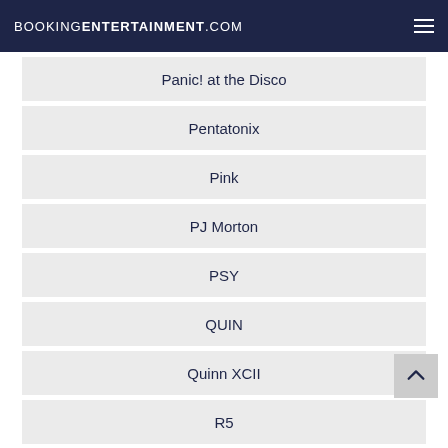BOOKINGENTERTAINMENT.COM
Panic! at the Disco
Pentatonix
Pink
PJ Morton
PSY
QUIN
Quinn XCII
R5
Rihanna